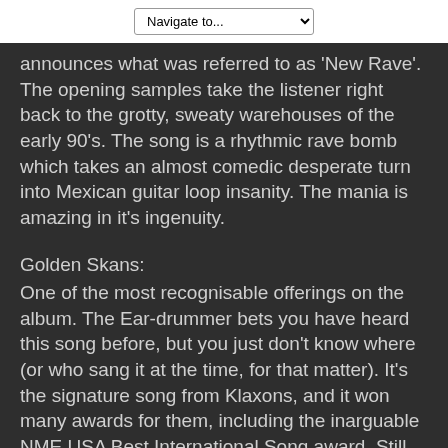Navigate to...
announces what was referred to as 'New Rave'. The opening samples take the listener right back to the grotty, sweaty warehouses of the early 90's. The song is a rhythmic rave bomb which takes an almost comedic desperate turn into Mexican guitar loop insanity. The mania is amazing in it's ingenuity.
Golden Skans:
One of the most recognisable offerings on the album. The Ear-drummer bets you have heard this song before, but you just don't know where (or who sang it at the time, for that matter). It's the signature song from Klaxons, and it won many awards for them, including the inarguable NME USA Best International Song award. Still don't really